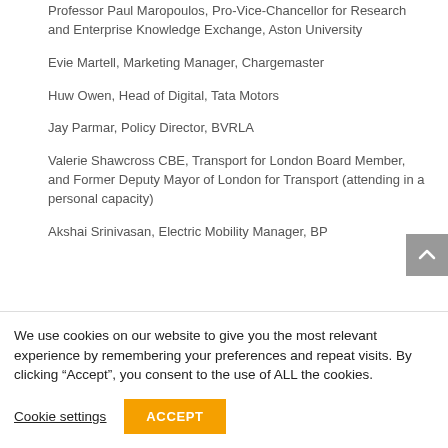Professor Paul Maropoulos, Pro-Vice-Chancellor for Research and Enterprise Knowledge Exchange, Aston University
Evie Martell, Marketing Manager, Chargemaster
Huw Owen, Head of Digital, Tata Motors
Jay Parmar, Policy Director, BVRLA
Valerie Shawcross CBE, Transport for London Board Member, and Former Deputy Mayor of London for Transport (attending in a personal capacity)
Akshai Srinivasan, Electric Mobility Manager, BP
We use cookies on our website to give you the most relevant experience by remembering your preferences and repeat visits. By clicking “Accept”, you consent to the use of ALL the cookies.
Cookie settings | ACCEPT